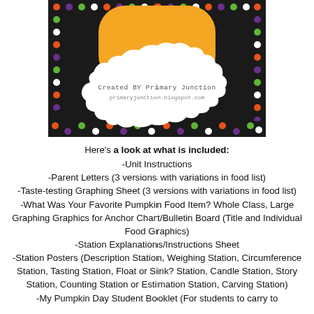[Figure (illustration): A decorative cover image with a Halloween/fall theme: black border with colorful polka dots (orange, purple, green, white), a large orange rounded rectangle shape in the center top, a white scalloped/cloud-shaped frame in the lower center containing the text 'Created BY Primary Junction' and 'primaryjunction.blogspot.com'. The bottom border has a scalloped wave pattern with polka dots.]
Here's a look at what is included:
-Unit Instructions
-Parent Letters (3 versions with variations in food list)
-Taste-testing Graphing Sheet (3 versions with variations in food list)
-What Was Your Favorite Pumpkin Food Item? Whole Class, Large Graphing Graphics for Anchor Chart/Bulletin Board (Title and Individual Food Graphics)
-Station Explanations/Instructions Sheet
-Station Posters (Description Station, Weighing Station, Circumference Station, Tasting Station, Float or Sink? Station, Candle Station, Story Station, Counting Station or Estimation Station, Carving Station)
-My Pumpkin Day Student Booklet (For students to carry to